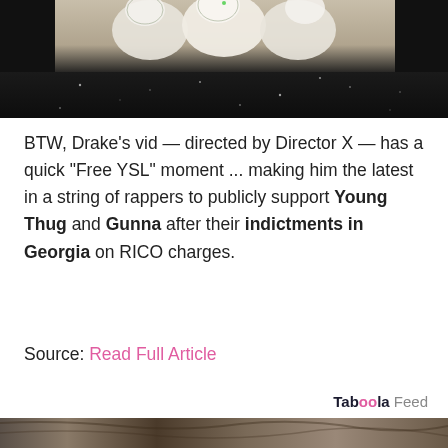[Figure (photo): Top portion of a photo showing women in white dresses holding white flower bouquets, with a dark sparkly background below]
BTW, Drake's vid — directed by Director X — has a quick “Free YSL” moment ... making him the latest in a string of rappers to publicly support Young Thug and Gunna after their indictments in Georgia on RICO charges.
Source: Read Full Article
Taboola Feed
[Figure (photo): Bottom partial photo showing a person with dark hair]